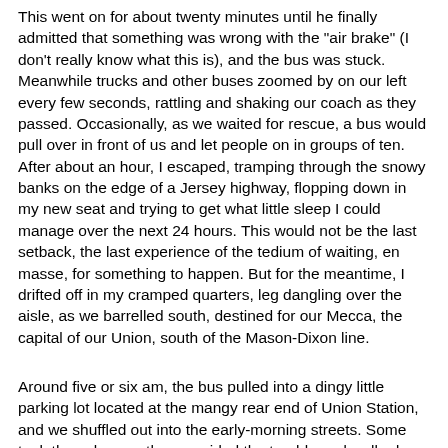This went on for about twenty minutes until he finally admitted that something was wrong with the "air brake" (I don't really know what this is), and the bus was stuck. Meanwhile trucks and other buses zoomed by on our left every few seconds, rattling and shaking our coach as they passed. Occasionally, as we waited for rescue, a bus would pull over in front of us and let people on in groups of ten. After about an hour, I escaped, tramping through the snowy banks on the edge of a Jersey highway, flopping down in my new seat and trying to get what little sleep I could manage over the next 24 hours. This would not be the last setback, the last experience of the tedium of waiting, en masse, for something to happen. But for the meantime, I drifted off in my cramped quarters, leg dangling over the aisle, as we barrelled south, destined for our Mecca, the capital of our Union, south of the Mason-Dixon line.
Around five or six am, the bus pulled into a dingy little parking lot located at the mangy rear end of Union Station, and we shuffled out into the early-morning streets. Some took the subway, others avoided the trouble and walked, up towards the gleaming white dome of the Capitol. We got